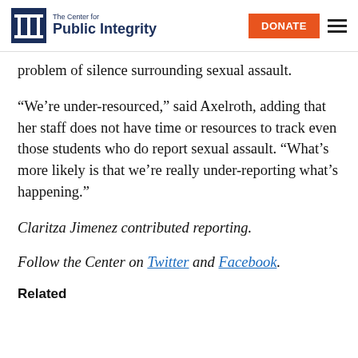The Center for Public Integrity | DONATE
problem of silence surrounding sexual assault.
“We’re under-resourced,” said Axelroth, adding that her staff does not have time or resources to track even those students who do report sexual assault. “What’s more likely is that we’re really under-reporting what’s happening.”
Claritza Jimenez contributed reporting.
Follow the Center on Twitter and Facebook.
Related